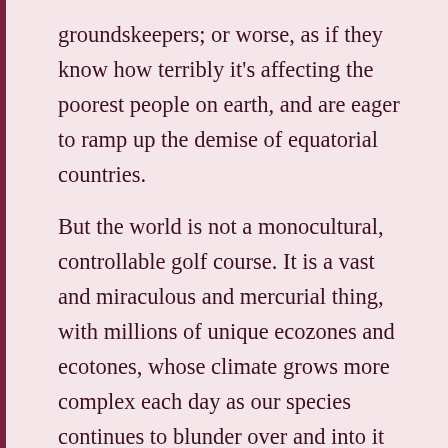groundskeepers; or worse, as if they know how terribly it's affecting the poorest people on earth, and are eager to ramp up the demise of equatorial countries.
But the world is not a monocultural, controllable golf course. It is a vast and miraculous and mercurial thing, with millions of unique ecozones and ecotones, whose climate grows more complex each day as our species continues to blunder over and into it with little comprehension of our devastating effect on our only home. With each war, each oil spill, each frack job, each billionaire born,